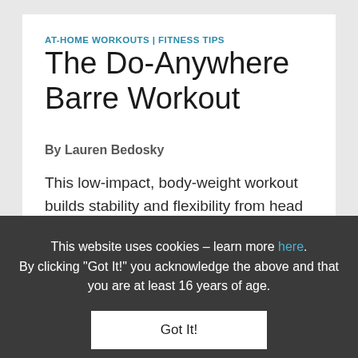AT-HOME WORKOUTS | FITNESS TIPS
The Do-Anywhere Barre Workout
By Lauren Bedosky
This low-impact, body-weight workout builds stability and flexibility from head to toe.
This website uses cookies – learn more here. By clicking “Got It!” you acknowledge the above and that you are at least 16 years of age.
Got It!